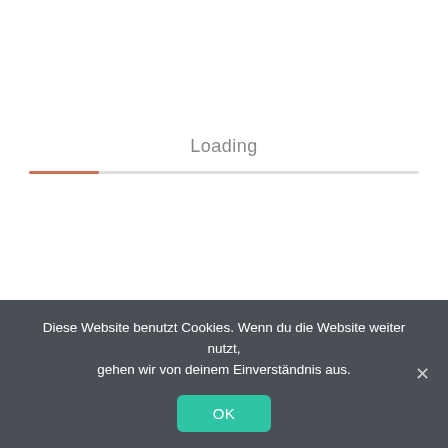Loading
Diese Website benutzt Cookies. Wenn du die Website weiter nutzt, gehen wir von deinem Einverständnis aus.
OK